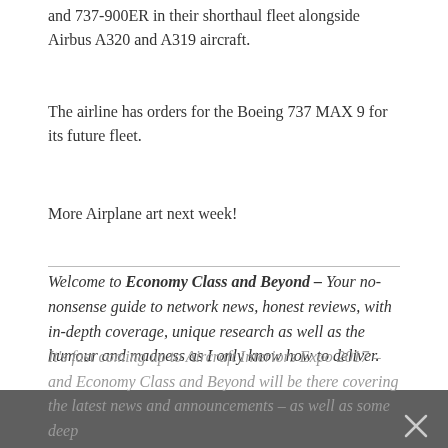and 737-900ER in their shorthaul fleet alongside Airbus A320 and A319 aircraft.
The airline has orders for the Boeing 737 MAX 9 for its future fleet.
More Airplane art next week!
Welcome to Economy Class and Beyond – Your no-nonsense guide to network news, honest reviews, with in-depth coverage, unique research as well as the humour and madness as I only know how to deliver.
It's fast coming up to Aircraft Interiors Expo 2017 – and Economy Class and Beyond will be there covering the latest news and announcements – as well as some deep